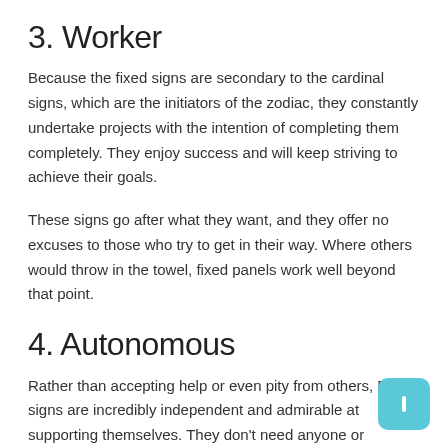3. Worker
Because the fixed signs are secondary to the cardinal signs, which are the initiators of the zodiac, they constantly undertake projects with the intention of completing them completely. They enjoy success and will keep striving to achieve their goals.
These signs go after what they want, and they offer no excuses to those who try to get in their way. Where others would throw in the towel, fixed panels work well beyond that point.
4. Autonomous
Rather than accepting help or even pity from others, Fixed signs are incredibly independent and admirable at supporting themselves. They don't need anyone or anything to change their situation; instead, they will hold their heads high and make the best of a situation.
Because of their determination, when they say they're going to do something, they really do mean it, and they won't stop at that.